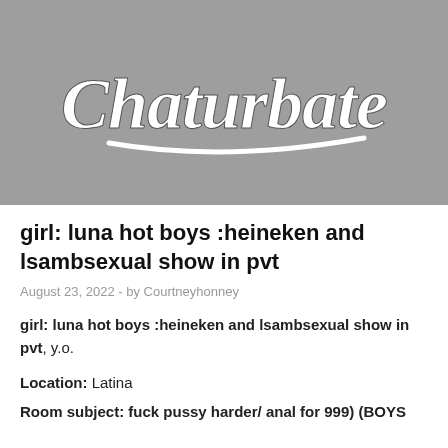[Figure (logo): Chaturbate logo on gray background]
girl: luna hot boys :heineken and lsambsexual show in pvt
August 23, 2022  -  by Courtneyhonney
girl: luna hot boys :heineken and lsambsexual show in pvt, y.o.
Location: Latina
Room subject: fuck pussy harder/ anal for 999) (BOYS